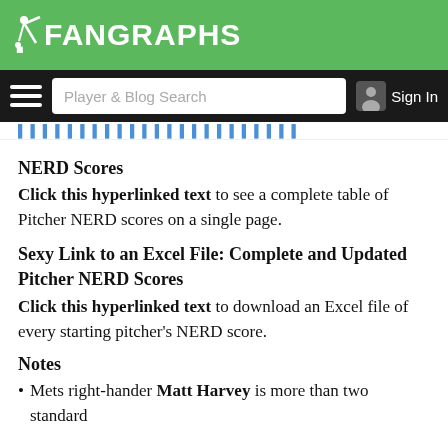FanGraphs
Player & Blog Search | Sign In
(partial cut-off text at top)
NERD Scores
Click this hyperlinked text to see a complete table of Pitcher NERD scores on a single page.
Sexy Link to an Excel File: Complete and Updated Pitcher NERD Scores
Click this hyperlinked text to download an Excel file of every starting pitcher's NERD score.
Notes
Mets right-hander Matt Harvey is more than two standard